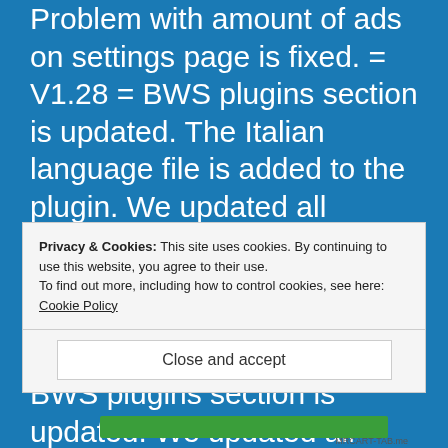Problem with amount of ads on settings page is fixed. = V1.28 = BWS plugins section is updated. The Italian language file is added to the plugin. We updated all functionality for wordpress 3.8.2. Plugin optimization is done. = V1.27 = Screenshots are updated. BWS plugins section is updated. We updated all functionality for wordpress 3.8.1. = V1.26
Privacy & Cookies: This site uses cookies. By continuing to use this website, you agree to their use.
To find out more, including how to control cookies, see here: Cookie Policy
Close and accept